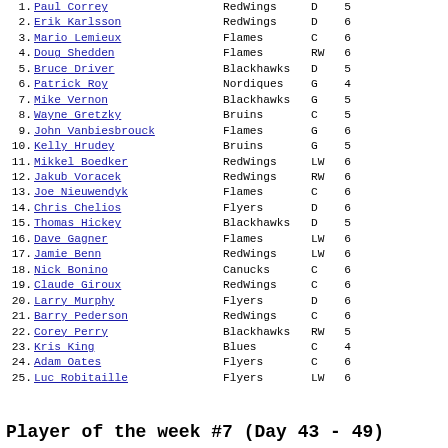1.  Paul Correy        RedWings   D  5
2.  Erik Karlsson      RedWings   D  6
3.  Mario Lemieux      Flames     C  6
4.  Doug Shedden       Flames     RW 6
5.  Bruce Driver       Blackhawks D  5
6.  Patrick Roy        Nordiques  G  4
7.  Mike Vernon        Blackhawks G  5
8.  Wayne Gretzky      Bruins     C  5
9.  John Vanbiesbrouck Flames     G  6
10. Kelly Hrudey       Bruins     G  5
11. Mikkel Boedker     RedWings   LW 6
12. Jakub Voracek      RedWings   RW 6
13. Joe Nieuwendyk     Flames     C  6
14. Chris Chelios      Flyers     D  6
15. Thomas Hickey      Blackhawks D  5
16. Dave Gagner        Flames     LW 6
17. Jamie Benn         RedWings   LW 6
18. Nick Bonino        Canucks    C  6
19. Claude Giroux      RedWings   C  6
20. Larry Murphy       Flyers     D  6
21. Barry Pederson     RedWings   C  6
22. Corey Perry        Blackhawks RW 5
23. Kris King          Blues      C  4
24. Adam Oates         Flyers     C  6
25. Luc Robitaille     Flyers     LW 6
Player of the week #7 (Day 43 - 49)